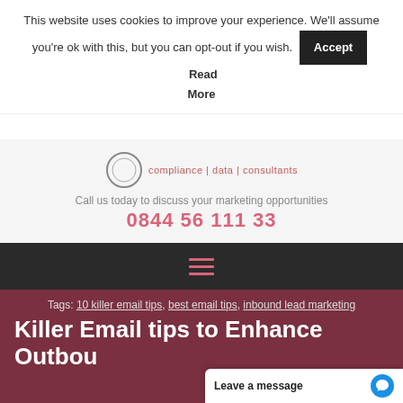This website uses cookies to improve your experience. We'll assume you're ok with this, but you can opt-out if you wish. Accept Read More
[Figure (logo): Company logo with circle graphic and tagline: compliance | data | consultants]
Call us today to discuss your marketing opportunities
0844 56 111 33
[Figure (infographic): Hamburger menu icon with three pink horizontal lines on dark background]
Tags: 10 killer email tips, best email tips, inbound lead marketing
Killer Email tips to Enhance Outbou...
Leave a message